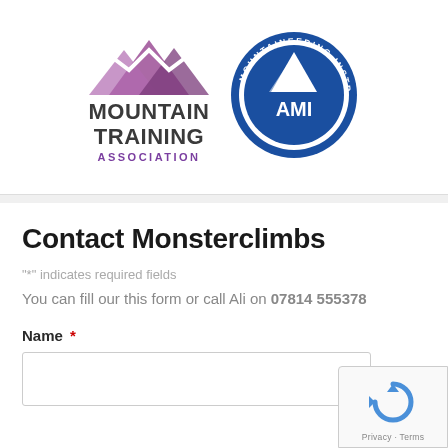[Figure (logo): Mountain Training Association logo with purple mountain chevron graphic above bold text 'MOUNTAIN TRAINING' and purple 'ASSOCIATION' text]
[Figure (logo): AMI (Association of Mountaineering Instructors) circular blue badge logo with mountain graphic and text around the ring reading 'MOUNTAINEERING INSTRUCTORS']
Contact Monsterclimbs
"*" indicates required fields
You can fill our this form or call Ali on 07814 555378
Name *